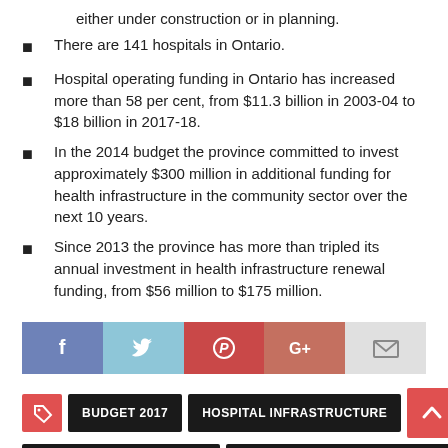either under construction or in planning.
There are 141 hospitals in Ontario.
Hospital operating funding in Ontario has increased more than 58 per cent, from $11.3 billion in 2003-04 to $18 billion in 2017-18.
In the 2014 budget the province committed to invest approximately $300 million in additional funding for health infrastructure in the community sector over the next 10 years.
Since 2013 the province has more than tripled its annual investment in health infrastructure renewal funding, from $56 million to $175 million.
[Figure (infographic): Social media share buttons: Facebook, Twitter, Pinterest, Google+, Email]
[Figure (infographic): Tag buttons: tag icon, BUDGET 2017, HOSPITAL INFRASTRUCTURE, back-to-top arrow, HOSPITAL PROJECTS, OFFICE OF THE PREMIER]